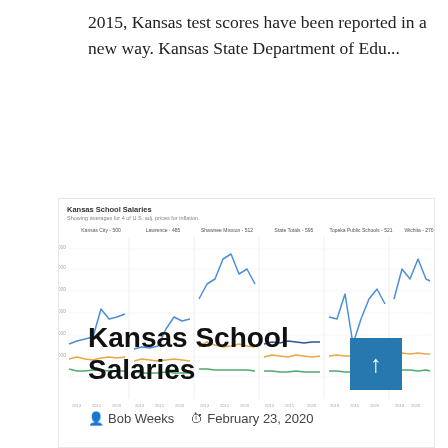2015, Kansas test scores have been reported in a new way. Kansas State Department of Edu...
[Figure (line-chart): Small multiple line chart showing Kansas school salaries over time for Kansas City, Lawrence, Shawnee Mission, State Totals, Topeka Public Schools, and Wichita. Three lines per panel (blue, orange, green) showing average salaries adjusted for inflation from approximately 2013 to 2020.]
Kansas School Salaries
Bob Weeks    February 23, 2020